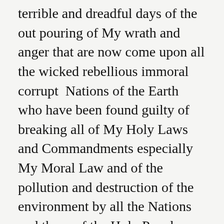terrible and dreadful days of the out pouring of My wrath and anger that are now come upon all the wicked rebellious immoral corrupt  Nations of the Earth who have been found guilty of breaking all of My Holy Laws and Commandments especially My Moral Law and of the pollution and destruction of the environment by all the Nations and those of the Holy People who exist upon the face of the Earth even those now who have returned to the Land of Promise who are but Israelites in name only and know no not Me and as so said desire not to know Me saith the Lord